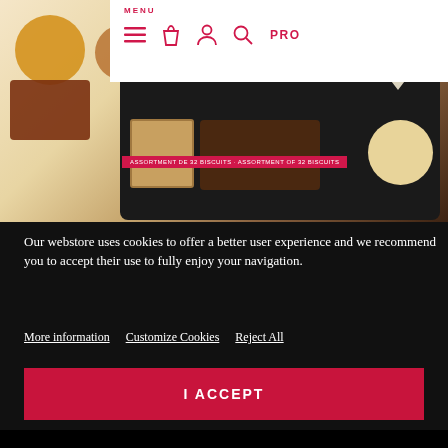[Figure (screenshot): Website navigation bar with MENU text, hamburger icon, shopping bag icon, user icon, search icon, and PRO text in red/pink color]
[Figure (photo): Assortment of French biscuits and cookies in a black tray with a red banner reading ASSORTMENT DE 32 BISCUITS - ASSORTMENT OF 32 BISCUITS]
Our webstore uses cookies to offer a better user experience and we recommend you to accept their use to fully enjoy your navigation.
More information
Customize Cookies
Reject All
I ACCEPT